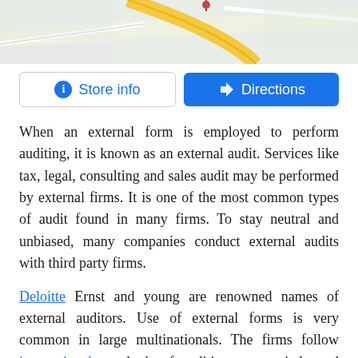[Figure (map): Partial map view showing streets with yellow road and map tiles, cropped at top]
[Figure (other): Two buttons: 'Store info' (outlined, blue icon) and 'Directions' (blue filled with directions icon)]
When an external form is employed to perform auditing, it is known as an external audit. Services like tax, legal, consulting and sales audit may be performed by external firms. It is one of the most common types of audit found in many firms. To stay neutral and unbiased, many companies conduct external audits with third party firms.
Deloitte Ernst and young are renowned names of external auditors. Use of external forms is very common in large multinationals. The firms follow international standards of auditing very strictly and maintain a professional code throughout the auditing procedure. It is ensured that the firm works independently from the client so that if a conflict of interest of cause proper